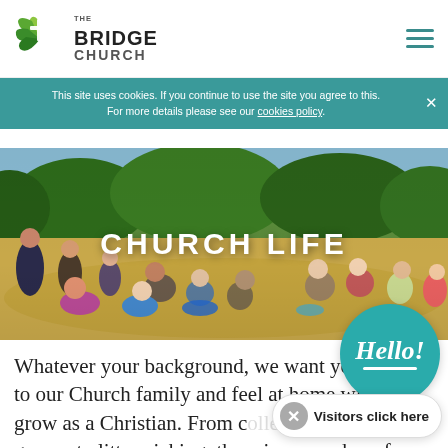THE BRIDGE CHURCH
This site uses cookies. If you continue to use the site you agree to this. For more details please see our cookies policy.
[Figure (photo): Outdoor church gathering / picnic on a sunny day with many adults and children sitting on grass, trees in background. Text overlay: CHURCH LIFE]
CHURCH LIFE
Whatever your background, we want you to our Church family and feel at home with you grow as a Christian. From c groups to litter picking, there is somewhere for
[Figure (illustration): Teal circular badge with 'Hello!' in italic script and an underline]
Visitors click here